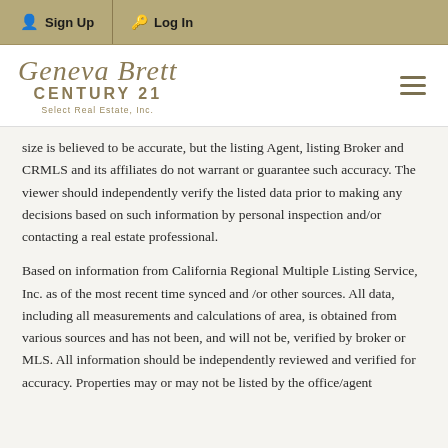Sign Up  Log In
[Figure (logo): Geneva Brett Century 21 Select Real Estate, Inc. logo with hamburger menu icon]
size is believed to be accurate, but the listing Agent, listing Broker and CRMLS and its affiliates do not warrant or guarantee such accuracy. The viewer should independently verify the listed data prior to making any decisions based on such information by personal inspection and/or contacting a real estate professional.
Based on information from California Regional Multiple Listing Service, Inc. as of the most recent time synced and /or other sources. All data, including all measurements and calculations of area, is obtained from various sources and has not been, and will not be, verified by broker or MLS. All information should be independently reviewed and verified for accuracy. Properties may or may not be listed by the office/agent